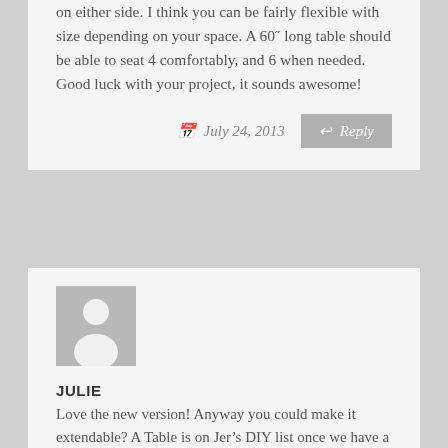on either side. I think you can be fairly flexible with size depending on your space. A 60" long table should be able to seat 4 comfortably, and 6 when needed. Good luck with your project, it sounds awesome!
July 24, 2013
[Figure (illustration): Default user avatar placeholder — grey background with white silhouette figure]
JULIE
Love the new version! Anyway you could make it extendable? A Table is on Jer's DIY list once we have a shed to work in